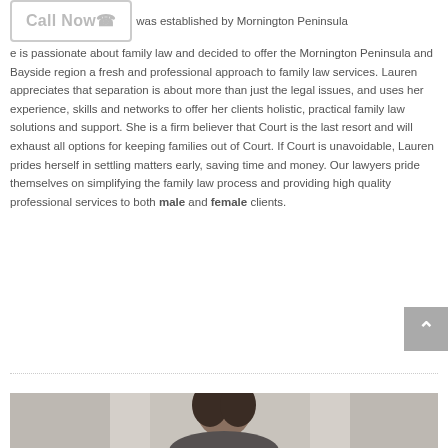was established by Mornington Peninsula ... is passionate about family law and decided to offer the Mornington Peninsula and Bayside region a fresh and professional approach to family law services. Lauren appreciates that separation is about more than just the legal issues, and uses her experience, skills and networks to offer her clients holistic, practical family law solutions and support. She is a firm believer that Court is the last resort and will exhaust all options for keeping families out of Court. If Court is unavoidable, Lauren prides herself in settling matters early, saving time and money. Our lawyers pride themselves on simplifying the family law process and providing high quality professional services to both male and female clients.
[Figure (photo): Portrait photo of a woman with dark hair, partially visible at the bottom of the page]